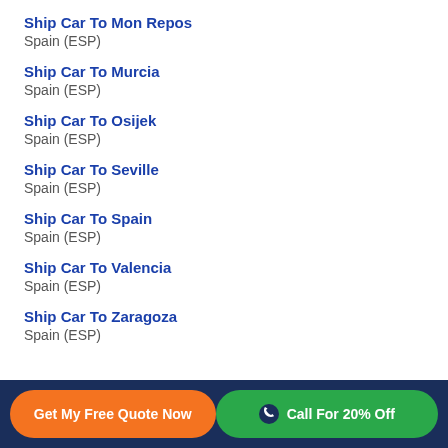Ship Car To Mon Repos
Spain (ESP)
Ship Car To Murcia
Spain (ESP)
Ship Car To Osijek
Spain (ESP)
Ship Car To Seville
Spain (ESP)
Ship Car To Spain
Spain (ESP)
Ship Car To Valencia
Spain (ESP)
Ship Car To Zaragoza
Spain (ESP)
Get My Free Quote Now | Call For 20% Off